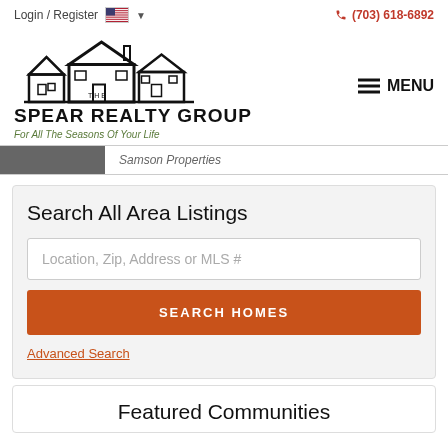Login / Register   (703) 618-6892
[Figure (logo): The Spear Realty Group logo with house illustration and tagline 'For All The Seasons Of Your Life']
Samson Properties
Search All Area Listings
Location, Zip, Address or MLS #
SEARCH HOMES
Advanced Search
Featured Communities